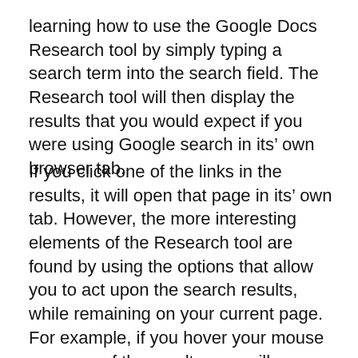learning how to use the Google Docs Research tool by simply typing a search term into the search field. The Research tool will then display the results that you would expect if you were using Google search in its’ own browser tab.
If you click one of the links in the results, it will open that page in its’ own tab. However, the more interesting elements of the Research tool are found by using the options that allow you to act upon the search results, while remaining on your current page. For example, if you hover your mouse over one of the results, you will see a new set of options displayed under the result.